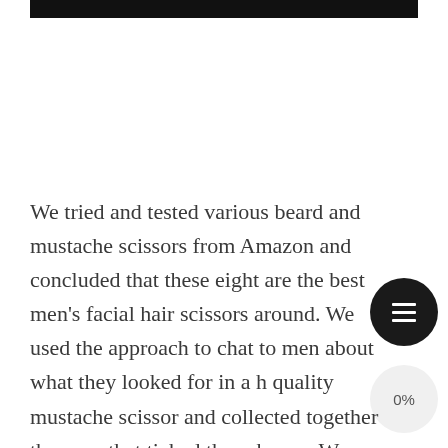[Figure (other): Black header bar at top of page]
We tried and tested various beard and mustache scissors from Amazon and concluded that these eight are the best men's facial hair scissors around. We used the approach to chat to men about what they looked for in a high quality mustache scissor and collected together the ones that ticked these boxes. We then reviewed each of these men's beard trimmers